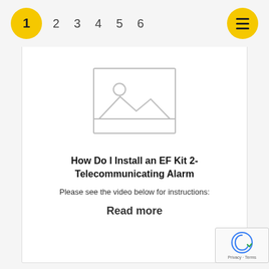1  2  3  4  5  6
[Figure (illustration): Placeholder image icon representing an unloaded image — a rectangle with a small circle (sun) and mountain silhouette inside, rendered in light gray.]
How Do I Install an EF Kit 2-Telecommunicating Alarm
Please see the video below for instructions:
Read more